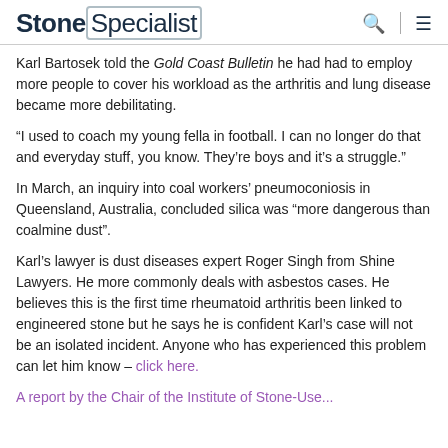StoneSpecialist
Karl Bartosek told the Gold Coast Bulletin he had had to employ more people to cover his workload as the arthritis and lung disease became more debilitating.
“I used to coach my young fella in football. I can no longer do that and everyday stuff, you know. They’re boys and it’s a struggle.”
In March, an inquiry into coal workers’ pneumoconiosis in Queensland, Australia, concluded silica was “more dangerous than coalmine dust”.
Karl’s lawyer is dust diseases expert Roger Singh from Shine Lawyers. He more commonly deals with asbestos cases. He believes this is the first time rheumatoid arthritis been linked to engineered stone but he says he is confident Karl’s case will not be an isolated incident. Anyone who has experienced this problem can let him know – click here.
A report by the Chair of the Institute of Stone-Use...